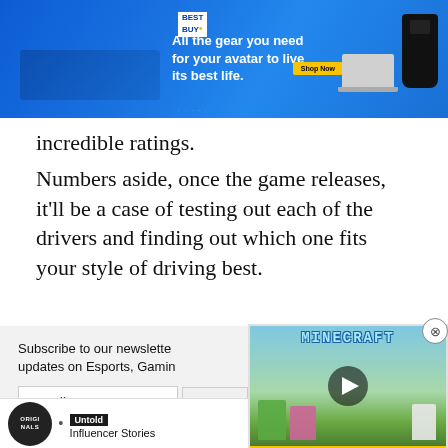[Figure (photo): Best Buy advertisement banner with blue gradient background. Text reads 'All the gear you need for your avatar to live its best life.' with laptop and gaming console devices shown and a yellow 'Shop Now' button.]
incredible ratings.
Numbers aside, once the game releases, it'll be a case of testing out each of the drivers and finding out which one fits your style of driving best.
Subscribe to our newsletter for the latest updates on Esports, Gaming
Email
[Figure (screenshot): Minecraft advertisement overlay showing Minecraft logo, characters from the game (Steve, a pink pig, a white sheep), and a play button. Yellow background with MINECRAFT! text at bottom.]
[Figure (screenshot): Bottom advertisement bar featuring Originals logo, bullet point, 'Untold' badge, 'Influencer Stories' text, and a 'LEARN MORE' button.]